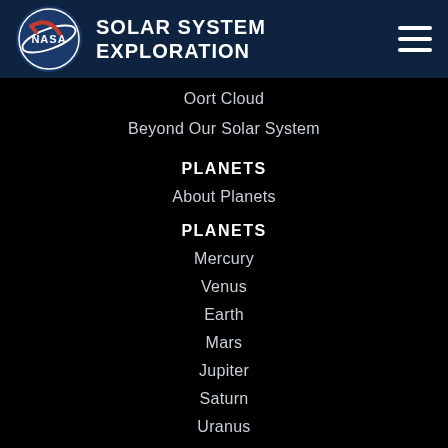[Figure (logo): NASA Solar System Exploration header with NASA logo and hamburger menu]
Oort Cloud
Beyond Our Solar System
PLANETS
About Planets
PLANETS
Mercury
Venus
Earth
Mars
Jupiter
Saturn
Uranus
Neptune
DWARF PLANETS